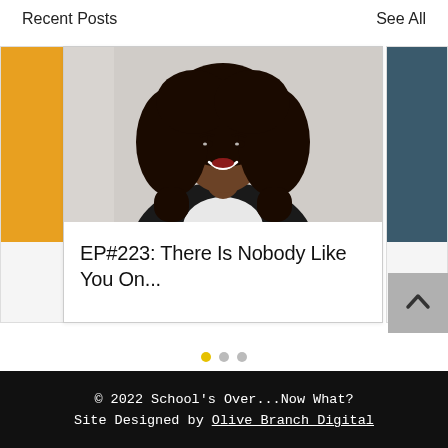Recent Posts
See All
[Figure (photo): Blog post card with photo of a smiling woman with curly hair wearing a black leather jacket, centered card in a carousel]
EP#223: There Is Nobody Like You On...
© 2022 School's Over...Now What? Site Designed by Olive Branch Digital